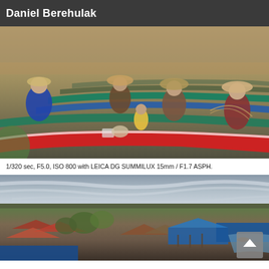Daniel Berehulak
[Figure (photo): Busy floating market scene in Southeast Asia with many colorful boats and people trading fish and goods on the water.]
1/320 sec, F5.0, ISO 800 with LEICA DG SUMMILUX 15mm / F1.7 ASPH.
[Figure (photo): Aerial view of a floating village with stilt houses and blue metal roofing near a river, with green trees and water surrounding the settlement.]